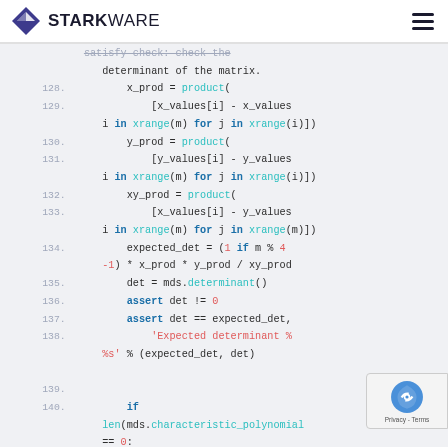STARKWARE
[Figure (screenshot): Code snippet showing Python code with line numbers 128-141, on a light gray background. Code involves product calculations, determinant verification using mds.determinant(), assert statements, and characteristic_polynomial check.]